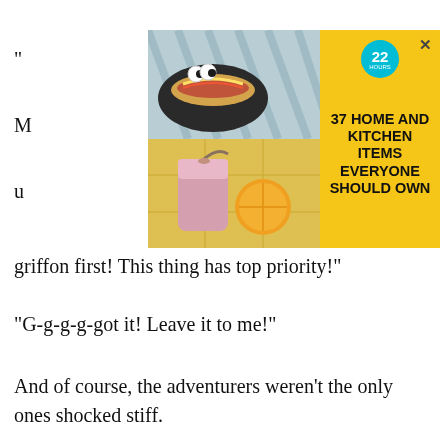“
M
u
[Figure (screenshot): Advertisement banner with yellow background showing food/kitchen items and text '37 HOME AND KITCHEN ITEMS EVERYONE SHOULD OWN' with a teal badge showing '22']
griffon first! This thing has top priority!”
“G-g-g-g-got it! Leave it to me!”
And of course, the adventurers weren’t the only ones shocked stiff.
Megumin began to chant. Hearing her, the adventurers regained composure and prepared their weapons.
“Alright, I’ll be the meat shield! This will be my big moment; I must convince Komekko to say that the crazy army is also very